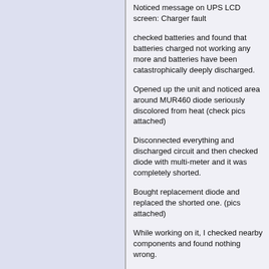Noticed message on UPS LCD screen: Charger fault
checked batteries and found that batteries charged not working any more and batteries have been catastrophically deeply discharged.
Opened up the unit and noticed area around MUR460 diode seriously discolored from heat (check pics attached)
Disconnected everything and discharged circuit and then checked diode with multi-meter and it was completely shorted.
Bought replacement diode and replaced the shorted one. (pics attached)
While working on it, I checked nearby components and found nothing wrong.